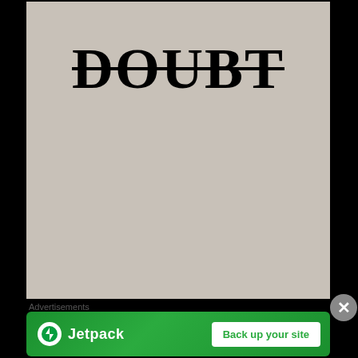[Figure (illustration): A square image with a beige/tan background color (#c8c1b8) featuring the word 'DOUBT' in large bold serif black font with a horizontal strikethrough line running through the middle of the text.]
Advertisements
[Figure (other): Jetpack advertisement banner with green background, Jetpack logo (circular white icon with lightning bolt), Jetpack name in white text, and a white button reading 'Back up your site']